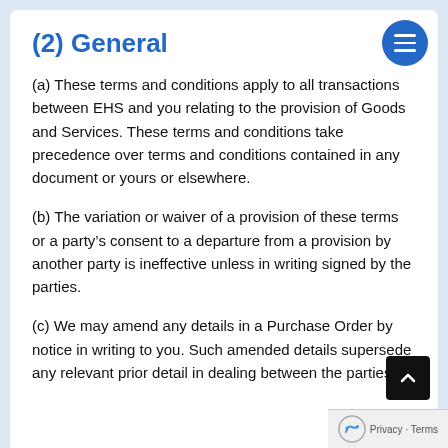(2) General
(a) These terms and conditions apply to all transactions between EHS and you relating to the provision of Goods and Services. These terms and conditions take precedence over terms and conditions contained in any document or yours or elsewhere.
(b) The variation or waiver of a provision of these terms or a party’s consent to a departure from a provision by another party is ineffective unless in writing signed by the parties.
(c) We may amend any details in a Purchase Order by notice in writing to you. Such amended details supersede any relevant prior detail in dealing between the parties